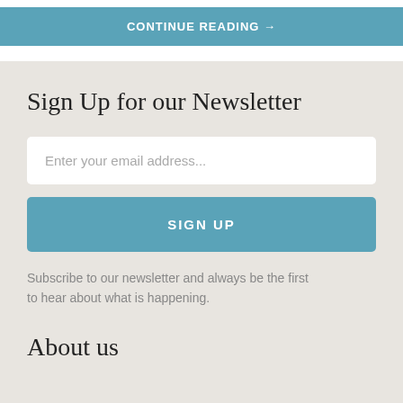CONTINUE READING →
Sign Up for our Newsletter
Enter your email address...
SIGN UP
Subscribe to our newsletter and always be the first to hear about what is happening.
About us